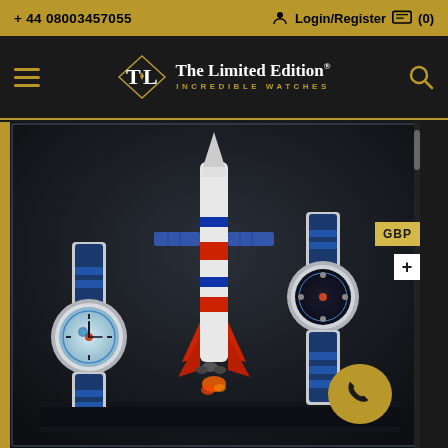+ 44 08003457055   Login/Register (0)
[Figure (logo): The Limited Edition INCREDIBLE WATCHES logo with TL monogram badge in gold and white on dark background]
[Figure (photo): Two space-themed watches with blue and grey straps displayed in a dark presentation box alongside a miniature rocket model (Soyuz-style), with a GBP currency button on the right side and a gold WhatsApp chat button in the lower right corner]